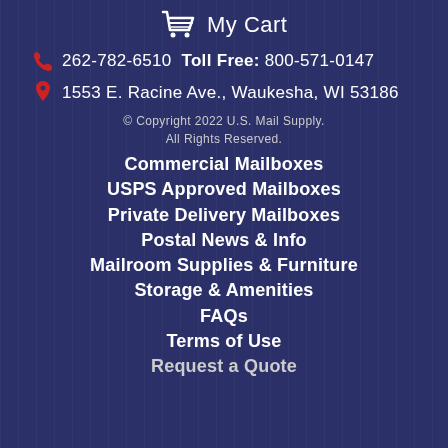My Cart
262-782-6510  Toll Free: 800-571-0147
1553 E. Racine Ave., Waukesha, WI 53186
© Copyright 2022 U.S. Mail Supply. All Rights Reserved.
Commercial Mailboxes
USPS Approved Mailboxes
Private Delivery Mailboxes
Postal News & Info
Mailroom Supplies & Furniture
Storage & Amenities
FAQs
Terms of Use
Request a Quote